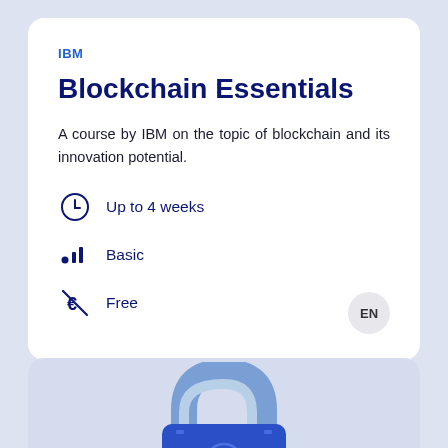IBM
Blockchain Essentials
A course by IBM on the topic of blockchain and its innovation potential.
Up to 4 weeks
Basic
Free
[Figure (illustration): Partial view of a blue padlock icon on a light blue card background]